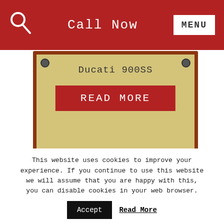Call Now | MENU
Ducati 900SS
READ MORE
[Figure (photo): Motorcycle (red Honda cafe racer) parked in front of green hedge/bushes, vintage card frame with bolts]
GET IN TOUCH
This website uses cookies to improve your experience. If you continue to use this website we will assume that you are happy with this, you can disable cookies in your web browser.
Accept
Read More